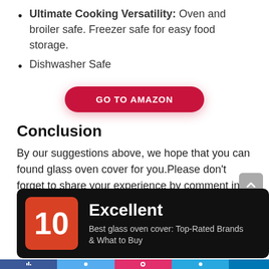Ultimate Cooking Versatility: Oven and broiler safe. Freezer safe for easy food storage.
Dishwasher Safe
[Figure (other): Red rounded button labeled GO TO AMAZON]
Conclusion
By our suggestions above, we hope that you can found glass oven cover for you.Please don't forget to share your experience by comment in this post. Thank you!
[Figure (infographic): Black card with red score box showing 10, title Excellent, subtitle Best glass oven cover: Top-Rated Brands & What to Buy]